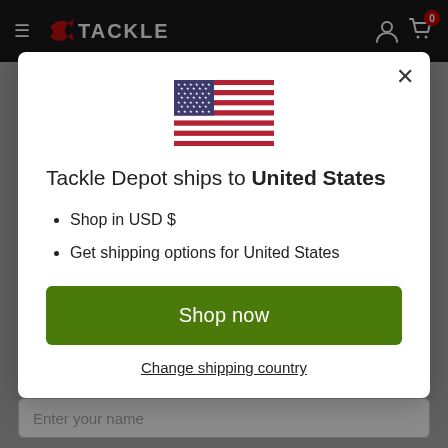Tackle Depot navigation bar
[Figure (screenshot): US flag icon centered in modal]
Tackle Depot ships to United States
Shop in USD $
Get shipping options for United States
Shop now
Change shipping country